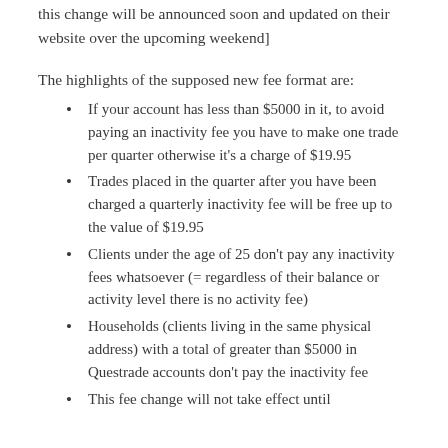this change will be announced soon and updated on their website over the upcoming weekend]
The highlights of the supposed new fee format are:
If your account has less than $5000 in it, to avoid paying an inactivity fee you have to make one trade per quarter otherwise it’s a charge of $19.95
Trades placed in the quarter after you have been charged a quarterly inactivity fee will be free up to the value of $19.95
Clients under the age of 25 don’t pay any inactivity fees whatsoever (= regardless of their balance or activity level there is no activity fee)
Households (clients living in the same physical address) with a total of greater than $5000 in Questrade accounts don’t pay the inactivity fee
This fee change will not take effect until